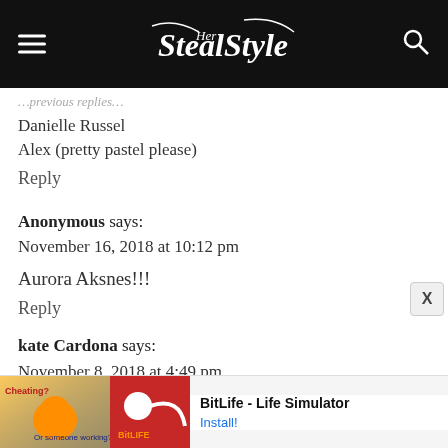Steal Her Style
Danielle Russel
Alex (pretty pastel please)
Reply
Anonymous says:
November 16, 2018 at 10:12 pm
Aurora Aksnes!!!
Reply
kate Cardona says:
November 8, 2018 at 4:49 pm
Lily chee
Reply
[Figure (screenshot): Ad banner: BitLife - Life Simulator with Install button]